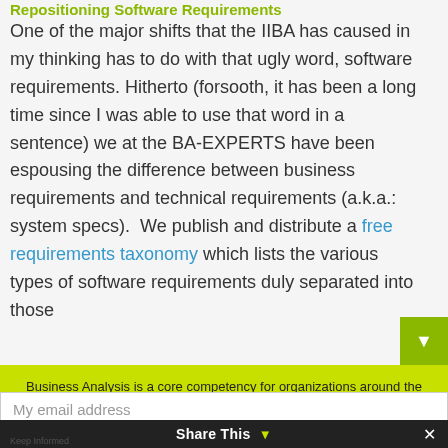Repositioning Software Requirements
One of the major shifts that the IIBA has caused in my thinking has to do with that ugly word, software requirements. Hitherto (forsooth, it has been a long time since I was able to use that word in a sentence) we at the BA-EXPERTS have been espousing the difference between business requirements and technical requirements (a.k.a.: system specs).  We publish and distribute a free requirements taxonomy which lists the various types of software requirements duly separated into those
Business Analysis is a core competency for organizations around the world.
My email address
Share This
Keep Informed